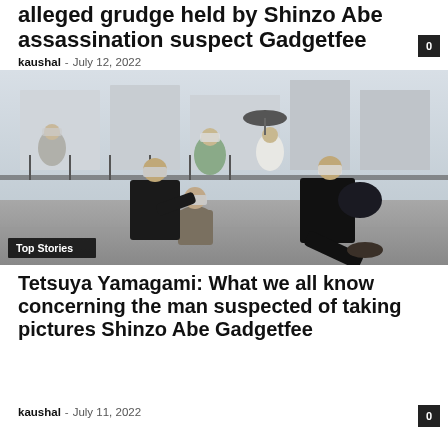alleged grudge held by Shinzo Abe assassination suspect Gadgetfee
kaushal – July 12, 2022
[Figure (photo): News photo showing the arrest of the Shinzo Abe assassination suspect, with security personnel subduing a man on a street. A 'Top Stories' badge overlay appears at the bottom left.]
Top Stories
Tetsuya Yamagami: What we all know concerning the man suspected of taking pictures Shinzo Abe Gadgetfee
kaushal – July 11, 2022